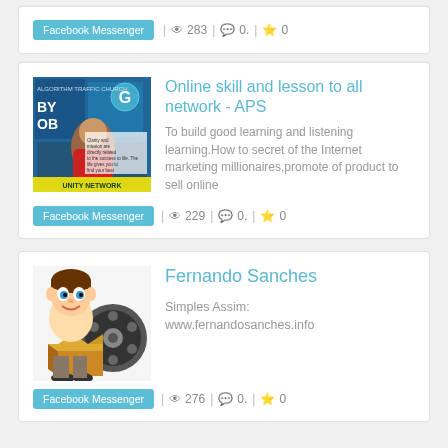[Figure (other): Top strip with Facebook Messenger button and stats: 283 views, 0 comments, 0 stars]
[Figure (illustration): Course card thumbnail for APS - shows people with text overlay]
Online skill and lesson to all network - APS
To build good learning and listening learning.How to secret of the Internet marketing millionaires,promote of product to sell online
Facebook Messenger | 229 | 0. | 0
[Figure (illustration): Fernando Sanches card thumbnail - cartoon character with box and film reel]
Fernando Sanches
Simples Assim: www.fernandosanches.info
Facebook Messenger | 276 | 0. | 0